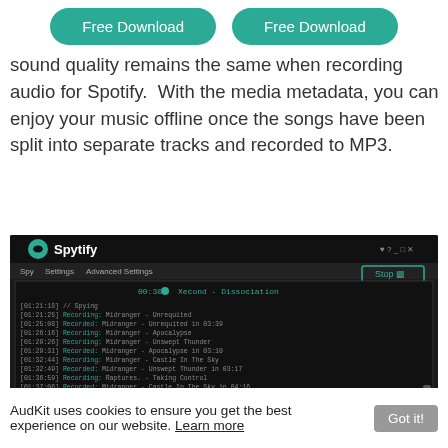Free Download   Free Download
sound quality remains the same when recording audio for Spotify.  With the media metadata, you can enjoy your music offline once the songs have been split into separate tracks and recorded to MP3.
[Figure (screenshot): Screenshot of Spytify application interface showing a dark-themed window with green branding. The app displays a recording log with timestamps and track names including artists like Midranger, Raptures, Yarita, Disfigure, and Xecond. A 'Stop' button is visible in the top right. A currently playing track '00:30 Xecond - Dissociation' is shown at the top of the log area.]
AudKit uses cookies to ensure you get the best experience on our website. Learn more   Got it!